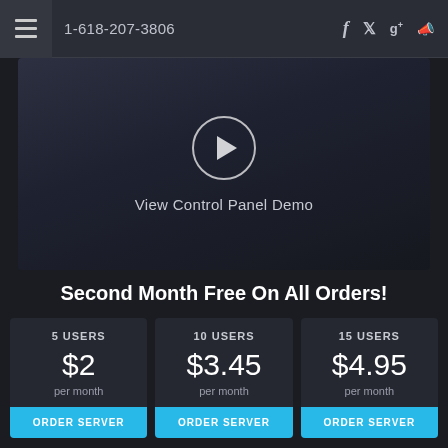1-618-207-3806
[Figure (screenshot): Video player with play button circle and label 'View Control Panel Demo' on dark background]
View Control Panel Demo
Second Month Free On All Orders!
| 5 USERS | 10 USERS | 15 USERS |
| --- | --- | --- |
| $2 | $3.45 | $4.95 |
| per month | per month | per month |
| ORDER SERVER | ORDER SERVER | ORDER SERVER |